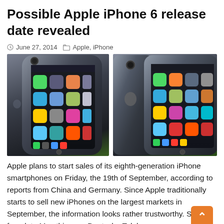Possible Apple iPhone 6 release date revealed
June 27, 2014   Apple, iPhone
[Figure (photo): Two Apple iPhone 6 concept renders showing the front and back of a dark space gray smartphone with colorful app icons on the screen]
Apple plans to start sales of its eighth-generation iPhone smartphones on Friday, the 19th of September, according to reports from China and Germany. Since Apple traditionally starts to sell new iPhones on the largest markets in September, the information looks rather trustworthy. Starting from late May this year Deutsche Telekom